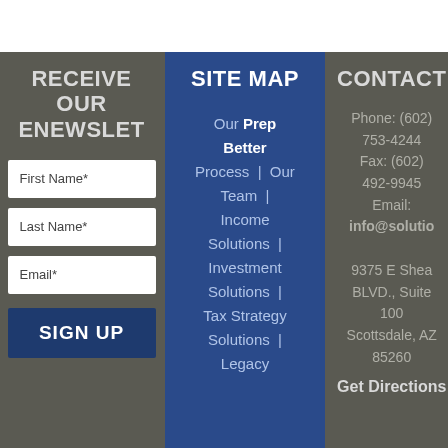RECEIVE OUR ENEWSLETTER
First Name*
Last Name*
Email*
SIGN UP
SITE MAP
Our Prep Better Process | Our Team | Income Solutions | Investment Solutions | Tax Strategy Solutions | Legacy
CONTACT
Phone: (602) 753-4244
Fax: (602) 492-9945
Email: info@solutio
9375 E Shea BLVD., Suite 100
Scottsdale, AZ 85260
Get Directions